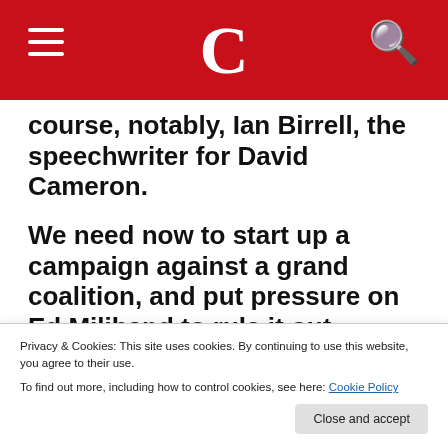C
course, notably, Ian Birrell, the speechwriter for David Cameron.
We need now to start up a campaign against a grand coalition, and put pressure on Ed Miliband to rule it out. Otherwise we face a fundamental threat to progressive politics in the UK.
Dr Duncan Talvinson has been at the University of...
Privacy & Cookies: This site uses cookies. By continuing to use this website, you agree to their use.
To find out more, including how to control cookies, see here: Cookie Policy